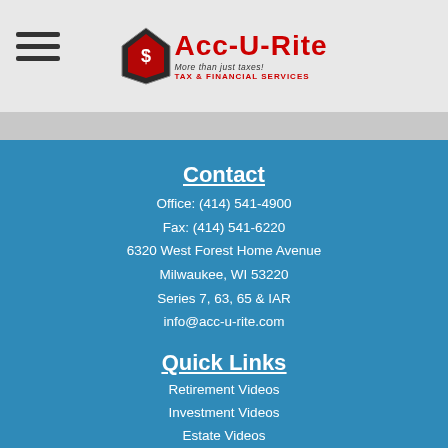[Figure (logo): Acc-U-Rite Tax & Financial Services logo with hamburger menu icon on left]
Contact
Office: (414) 541-4900
Fax: (414) 541-6220
6320 West Forest Home Avenue
Milwaukee, WI 53220
Series 7, 63, 65 & IAR
info@acc-u-rite.com
Quick Links
Retirement Videos
Investment Videos
Estate Videos
Insurance Videos
Tax Videos
Money Management Videos
Lifestyle Videos